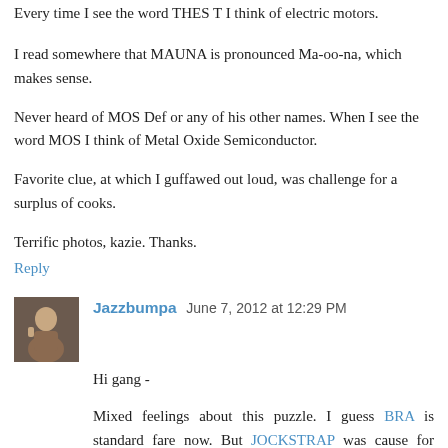Every time I see the word THES T I think of electric motors.
I read somewhere that MAUNA is pronounced Ma-oo-na, which makes sense.
Never heard of MOS Def or any of his other names. When I see the word MOS I think of Metal Oxide Semiconductor.
Favorite clue, at which I guffawed out loud, was challenge for a surplus of cooks.
Terrific photos, kazie. Thanks.
Reply
Jazzbumpa  June 7, 2012 at 12:29 PM
Hi gang -
Mixed feelings about this puzzle. I guess BRA is standard fare now. But JOCKSTRAP was cause for pause. Never heard of a THERAPY DOG. Looked at THE RA_Y DOG for a long time. Having LAUNA for MAUNA did me in. ALPS for tour bus cargo